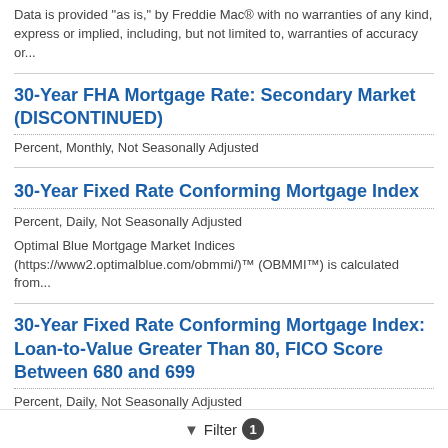Data is provided "as is," by Freddie Mac® with no warranties of any kind, express or implied, including, but not limited to, warranties of accuracy or...
30-Year FHA Mortgage Rate: Secondary Market (DISCONTINUED)
Percent, Monthly, Not Seasonally Adjusted
30-Year Fixed Rate Conforming Mortgage Index
Percent, Daily, Not Seasonally Adjusted
Optimal Blue Mortgage Market Indices (https://www2.optimalblue.com/obmmi/)™ (OBMMI™) is calculated from...
30-Year Fixed Rate Conforming Mortgage Index: Loan-to-Value Greater Than 80, FICO Score Between 680 and 699
Percent, Daily, Not Seasonally Adjusted
Filter 1